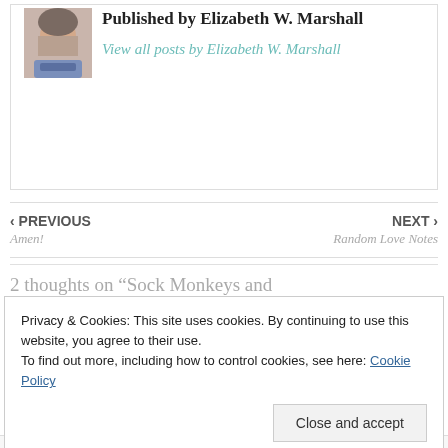[Figure (photo): Author photo of Elizabeth W. Marshall, a woman with light hair wearing a blue scarf]
Published by Elizabeth W. Marshall
View all posts by Elizabeth W. Marshall
‹ PREVIOUS
Amen!
NEXT ›
Random Love Notes
2 thoughts on “Sock Monkeys and
Privacy & Cookies: This site uses cookies. By continuing to use this website, you agree to their use.
To find out more, including how to control cookies, see here: Cookie Policy
Close and accept